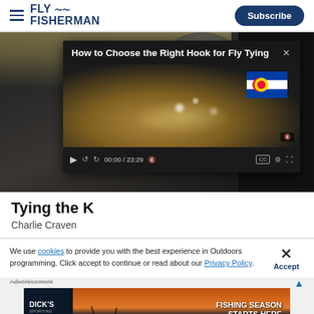FLY FISHERMAN | Subscribe
[Figure (screenshot): Fly fishing close-up photo with video overlay popup titled 'How to Choose the Right Hook for Fly Tying', showing a fish hook being held, video controls showing 00:00 / 23:29]
Tying the K
Charlie Craven
We use cookies to provide you with the best experience in Outdoors programming. Click accept to continue or read about our Privacy Policy.
Advertisement
[Figure (photo): Dick's Sporting Goods advertisement banner: 'FISHING SEASON STARTS HERE']